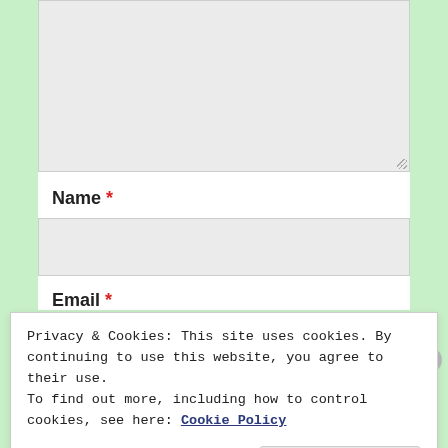[Figure (screenshot): A web form textarea input box (empty, gray background) at the top of the page, with a resize handle at the bottom-right corner.]
Name *
[Figure (screenshot): An empty text input field for 'Name' with gray background and border.]
Email *
Privacy & Cookies: This site uses cookies. By continuing to use this website, you agree to their use.
To find out more, including how to control cookies, see here: Cookie Policy
Close and accept